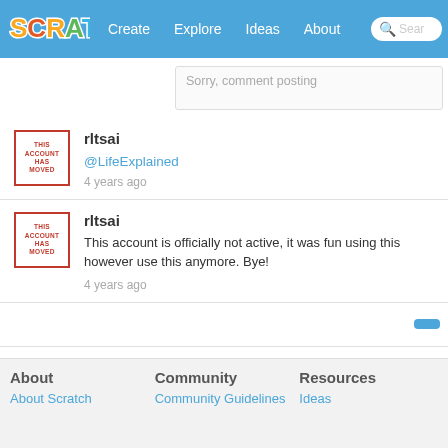SCRATCH | Create | Explore | Ideas | About | Search
Sorry, comment posting
rltsai
@LifeExplained
4 years ago
rltsai
This account is officially not active, it was fun using this however use this anymore. Bye!
4 years ago
About | Community | Resources
About Scratch | Community Guidelines | Ideas